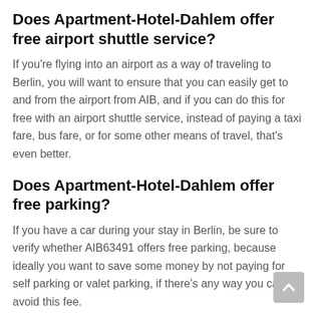Does Apartment-Hotel-Dahlem offer free airport shuttle service?
If you're flying into an airport as a way of traveling to Berlin, you will want to ensure that you can easily get to and from the airport from AIB, and if you can do this for free with an airport shuttle service, instead of paying a taxi fare, bus fare, or for some other means of travel, that's even better.
Does Apartment-Hotel-Dahlem offer free parking?
If you have a car during your stay in Berlin, be sure to verify whether AIB63491 offers free parking, because ideally you want to save some money by not paying for self parking or valet parking, if there's any way you can avoid this fee.
Is the public transportation near Apartment-Hotel-Dahlem good?